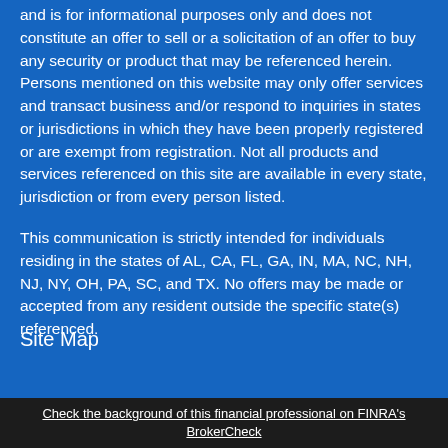and is for informational purposes only and does not constitute an offer to sell or a solicitation of an offer to buy any security or product that may be referenced herein. Persons mentioned on this website may only offer services and transact business and/or respond to inquiries in states or jurisdictions in which they have been properly registered or are exempt from registration. Not all products and services referenced on this site are available in every state, jurisdiction or from every person listed.
This communication is strictly intended for individuals residing in the states of AL, CA, FL, GA, IN, MA, NC, NH, NJ, NY, OH, PA, SC, and TX. No offers may be made or accepted from any resident outside the specific state(s) referenced.
Site Map
Check the background of this financial professional on FINRA's BrokerCheck